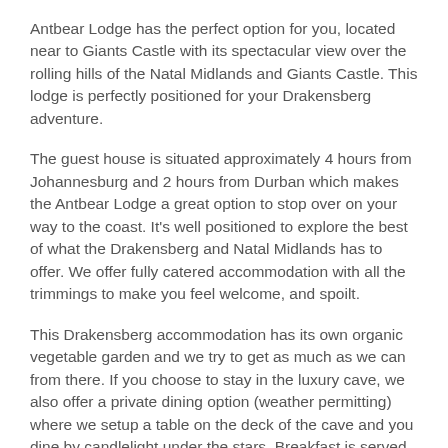Antbear Lodge has the perfect option for you, located near to Giants Castle with its spectacular view over the rolling hills of the Natal Midlands and Giants Castle. This lodge is perfectly positioned for your Drakensberg adventure.
The guest house is situated approximately 4 hours from Johannesburg and 2 hours from Durban which makes the Antbear Lodge a great option to stop over on your way to the coast. It's well positioned to explore the best of what the Drakensberg and Natal Midlands has to offer. We offer fully catered accommodation with all the trimmings to make you feel welcome, and spoilt.
This Drakensberg accommodation has its own organic vegetable garden and we try to get as much as we can from there. If you choose to stay in the luxury cave, we also offer a private dining option (weather permitting) where we setup a table on the deck of the cave and you dine by candlelight under the stars. Breakfast is served with freshly baked bread and scones and often it becomes a 2 hour affair.
Log fireplaces can be found in each cottage and wood is provided at no cost.